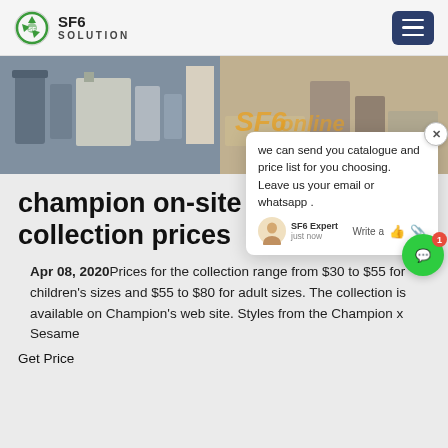SF6 SOLUTION
[Figure (photo): Industrial SF6 gas equipment machinery photograph, hero banner image]
champion on-site SF6 collection prices
Apr 08, 2020Prices for the collection range from $30 to $55 for children's sizes and $55 to $80 for adult sizes. The collection is available on Champion's web site. Styles from the Champion x Sesame
Get Price